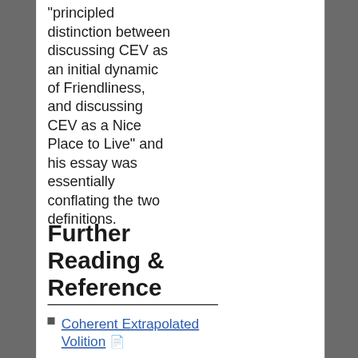"principled distinction between discussing CEV as an initial dynamic of Friendliness, and discussing CEV as a Nice Place to Live" and his essay was essentially conflating the two definitions.
Further Reading & Reference
Coherent Extrapolated Volition 🗎
by Eliezer